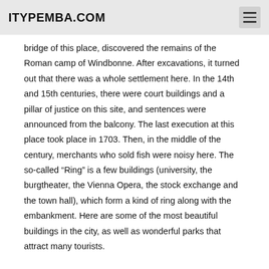ITYPEMBA.COM
bridge of this place, discovered the remains of the Roman camp of Windbonne. After excavations, it turned out that there was a whole settlement here. In the 14th and 15th centuries, there were court buildings and a pillar of justice on this site, and sentences were announced from the balcony. The last execution at this place took place in 1703. Then, in the middle of the century, merchants who sold fish were noisy here. The so-called “Ring” is a few buildings (university, the burgtheater, the Vienna Opera, the stock exchange and the town hall), which form a kind of ring along with the embankment. Here are some of the most beautiful buildings in the city, as well as wonderful parks that attract many tourists.